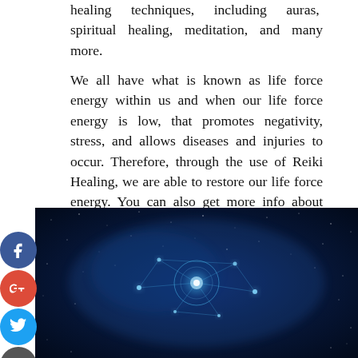healing techniques, including auras, spiritual healing, meditation, and many more.
We all have what is known as life force energy within us and when our life force energy is low, that promotes negativity, stress, and allows diseases and injuries to occur. Therefore, through the use of Reiki Healing, we are able to restore our life force energy. You can also get more info about third eye chakra stones for health benefits.
[Figure (photo): Dark blue cosmic/space background with glowing chakra energy points connected by light lines, depicting spiritual energy network]